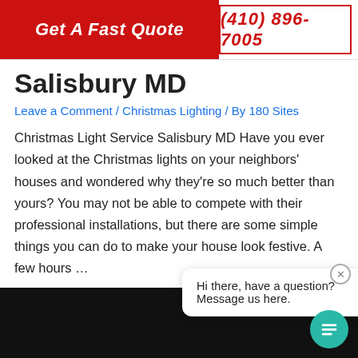Get A Fast Quote | (410) 896-7005
Salisbury MD
Leave a Comment / Christmas Lighting / By 180 Sites
Christmas Light Service Salisbury MD Have you ever looked at the Christmas lights on your neighbors' houses and wondered why they're so much better than yours? You may not be able to compete with their professional installations, but there are some simple things you can do to make your house look festive. A few hours …
Read More »
Hi there, have a question? Message us here.
[Figure (photo): Dark background photo at bottom of page, appears to show Christmas lights scene at night]